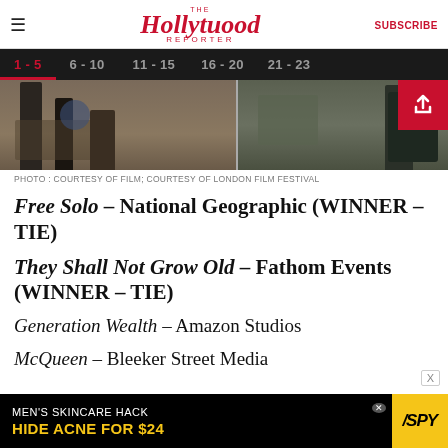The Hollywood Reporter | SUBSCRIBE
1-5  6-10  11-15  16-20  21-23
[Figure (photo): Two documentary film stills side by side — left shows figures in desert/rocky terrain, right shows a person in dark clothing with a vehicle]
PHOTO : COURTESY OF FILM; COURTESY OF LONDON FILM FESTIVAL
Free Solo – National Geographic (WINNER – TIE)
They Shall Not Grow Old – Fathom Events (WINNER – TIE)
Generation Wealth – Amazon Studios
McQueen – Bleeker Street Media